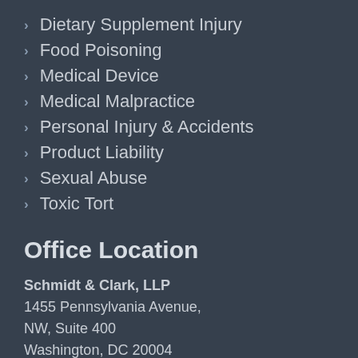Dietary Supplement Injury
Food Poisoning
Medical Device
Medical Malpractice
Personal Injury & Accidents
Product Liability
Sexual Abuse
Toxic Tort
Office Location
Schmidt & Clark, LLP
1455 Pennsylvania Avenue,
NW, Suite 400
Washington, DC 20004